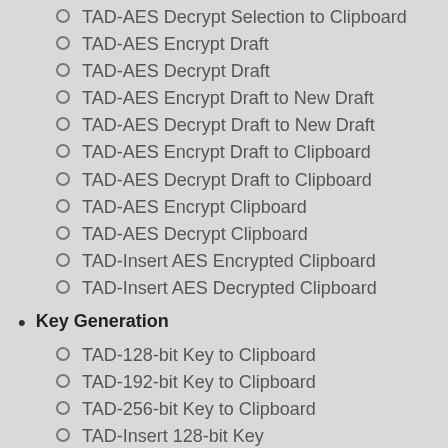TAD-AES Decrypt Selection to Clipboard
TAD-AES Encrypt Draft
TAD-AES Decrypt Draft
TAD-AES Encrypt Draft to New Draft
TAD-AES Decrypt Draft to New Draft
TAD-AES Encrypt Draft to Clipboard
TAD-AES Decrypt Draft to Clipboard
TAD-AES Encrypt Clipboard
TAD-AES Decrypt Clipboard
TAD-Insert AES Encrypted Clipboard
TAD-Insert AES Decrypted Clipboard
Key Generation
TAD-128-bit Key to Clipboard
TAD-192-bit Key to Clipboard
TAD-256-bit Key to Clipboard
TAD-Insert 128-bit Key
TAD-Insert 192-bit Key
TAD-Insert 256-bit Key